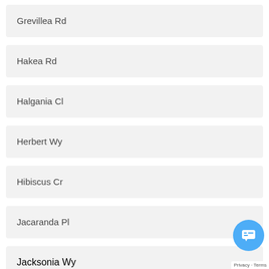Grevillea Rd
Hakea Rd
Halgania Cl
Herbert Wy
Hibiscus Cr
Jacaranda Pl
Jacksonia Wy